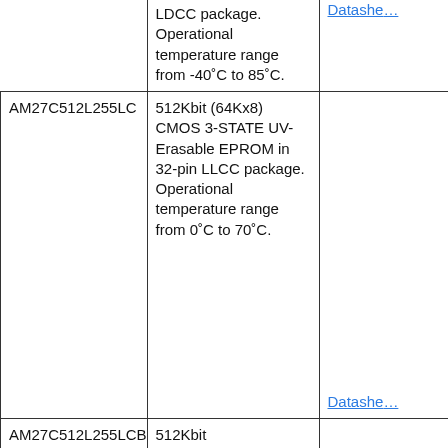| (part number) | (description) | (link) |
| --- | --- | --- |
|  | LDCC package. Operational temperature range from -40°C to 85°C. | Datasheet |
| AM27C512L255LC | 512Kbit (64Kx8) CMOS 3-STATE UV-Erasable EPROM in 32-pin LLCC package. Operational temperature range from 0°C to 70°C. | Datasheet |
| AM27C512L255LCB | 512Kbit |  |